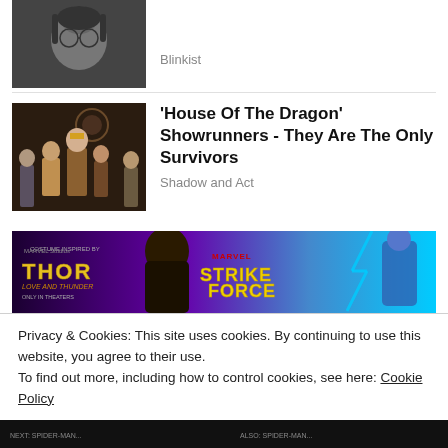[Figure (photo): Black and white photo of a young man with round glasses and long hair]
Blinkist
[Figure (photo): Scene from House of the Dragon with characters seated on a throne]
'House Of The Dragon' Showrunners - They Are The Only Survivors
Shadow and Act
[Figure (other): Marvel Strike Force advertisement banner, co-promoted with Thor Love and Thunder]
Privacy & Cookies: This site uses cookies. By continuing to use this website, you agree to their use.
To find out more, including how to control cookies, see here: Cookie Policy
Close and accept